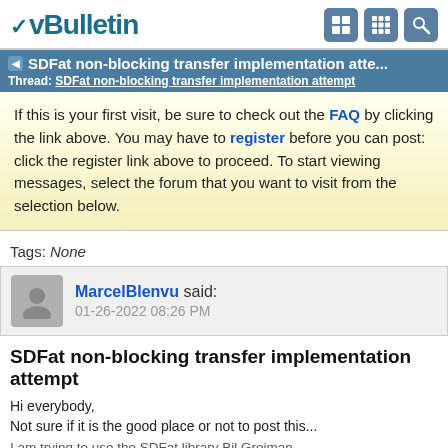vBulletin
SDFat non-blocking transfer implementation atte... Thread: SDFat non-blocking transfer implementation attempt
If this is your first visit, be sure to check out the FAQ by clicking the link above. You may have to register before you can post: click the register link above to proceed. To start viewing messages, select the forum that you want to visit from the selection below.
Tags: None
MarcelBlenvu said: 01-26-2022 08:26 PM
SDFat non-blocking transfer implementation attempt
Hi everybody,
Not sure if it is the good place or not to post this...